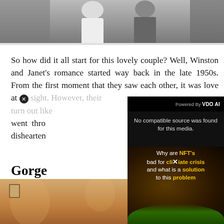[Figure (photo): Black and white photograph of a couple, cropped at the top, showing partial view of two people]
So how did it all start for this lovely couple? Well, Winston and Janet's romance started way back in the late 1950s. From the first moment that they saw each other, it was love at [obscured by video overlay] sight. However, their [obscured] turn out like [obscured] went thro[obscured] dishearten[obscured]
[Figure (screenshot): Video player overlay showing 'No compatible source was found for this media.' message, with NFT climate crisis video content visible: 'Why are NFT's bad for climate crisis and what is a solution to this problem'. VDO.AI branding shown. Close button (X) visible.]
Gorge[ous/ous Wedding...]
[Figure (photo): Bottom portion of a photo showing what appears to be a warmly lit interior scene, possibly a wedding venue with orange/pink tones]